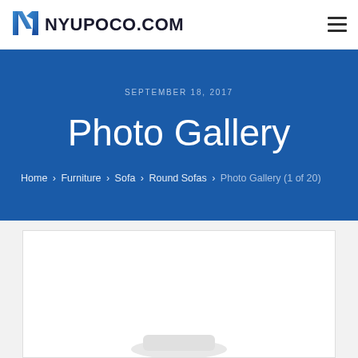NYUPOCO.COM
SEPTEMBER 18, 2017
Photo Gallery
Home › Furniture › Sofa › Round Sofas › Photo Gallery (1 of 20)
[Figure (photo): Partial view of a round sofa photo gallery image, mostly white/light colored, cut off at bottom of page]